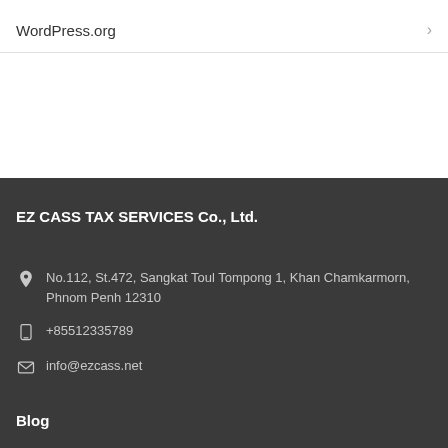WordPress.org
EZ CASS TAX SERVICES Co., Ltd.
No.112, St.472, Sangkat Toul Tompong 1, Khan Chamkarmorn, Phnom Penh 12310
+85512335789
info@ezcass.net
Blog